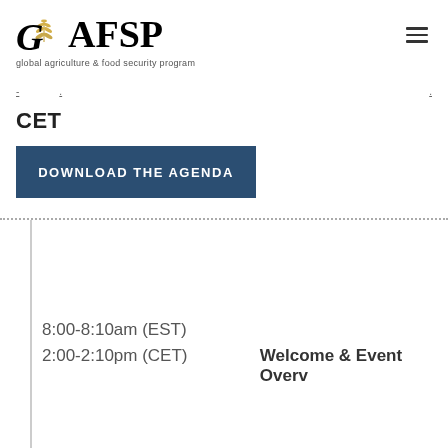[Figure (logo): GAFSP logo with wheat graphic and tagline 'global agriculture & food security program']
CET
DOWNLOAD THE AGENDA
| Time (EST) | Time (CET) | Event |
| --- | --- | --- |
| 8:00-8:10am (EST) | 2:00-2:10pm (CET) | Welcome & Event Overview |